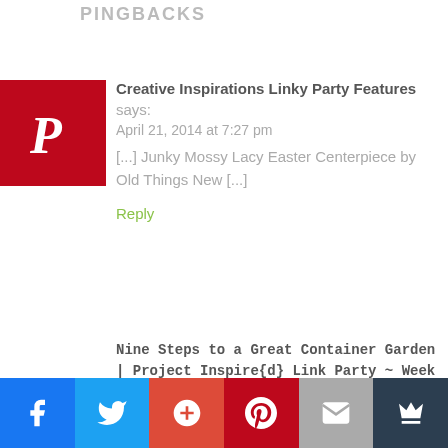PINGBACKS
[Figure (logo): Pinterest logo badge - red square with white Pinterest 'P' script]
Creative Inspirations Linky Party Features says:
April 21, 2014 at 7:27 pm
[...] Junky Mossy Lacy Easter Centerpiece by Old Things New [...]
Reply
Nine Steps to a Great Container Garden | Project Inspire{d} Link Party ~ Week 64 and features - An
[Figure (infographic): Social media sharing bar with Facebook, Twitter, Google+, Pinterest, Email, and Crown icons]